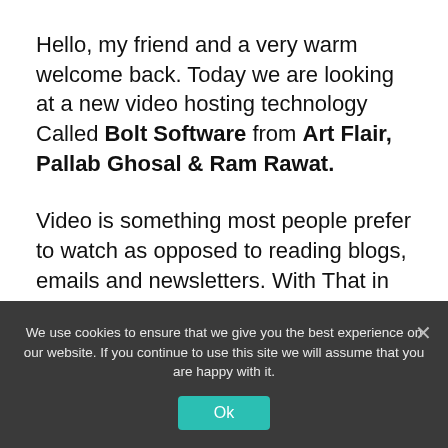Hello, my friend and a very warm welcome back. Today we are looking at a new video hosting technology Called Bolt Software from Art Flair, Pallab Ghosal & Ram Rawat.
Video is something most people prefer to watch as opposed to reading blogs, emails and newsletters. With That in mind, this trio has come up with a solution.
We use cookies to ensure that we give you the best experience on our website. If you continue to use this site we will assume that you are happy with it.